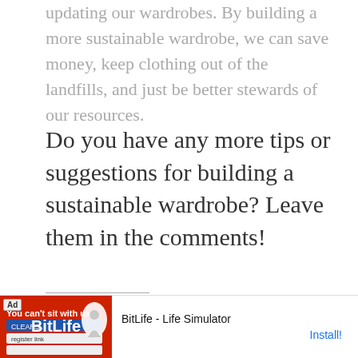updating our wardrobes. By building a more sustainable wardrobe, we can save money, keep clothing out of the landfills, and just be better stewards of our resources.
Do you have any more tips or suggestions for building a sustainable wardrobe? Leave them in the comments!
Tell a friend!
[Figure (infographic): Social sharing icons: Facebook (blue circle), Pinterest (red circle), Email (grey circle), Twitter (blue circle)]
[Figure (infographic): Advertisement banner for BitLife - Life Simulator app with Install button]